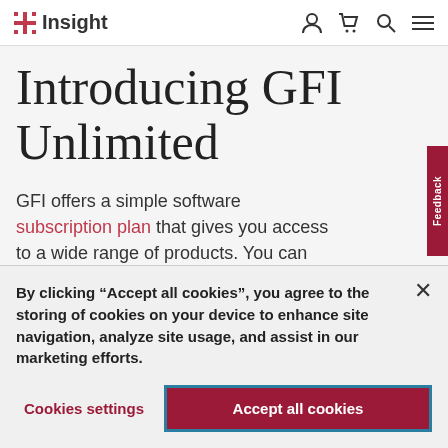Insight
Introducing GFI Unlimited
GFI offers a simple software subscription plan that gives you access to a wide range of products. You can add software licenses as needed, benefit from limitless installations and
Feedback
By clicking “Accept all cookies”, you agree to the storing of cookies on your device to enhance site navigation, analyze site usage, and assist in our marketing efforts.
Cookies settings
Accept all cookies